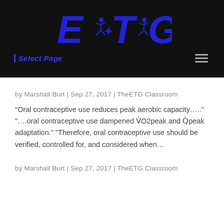[Figure (logo): ETG logo in blue italic bold text on black background with running figure icons]
Select Page
by Marshall Burt | Sep 27, 2017 | TheETG Classroom
“Oral contraceptive use reduces peak aerobic capacity…..” “….oral contraceptive use dampened V˙O2peak and Q˙peak adaptation.” “Therefore, oral contraceptive use should be verified, controlled for, and considered when…
by Marshall Burt | Sep 27, 2017 | TheETG Classroom